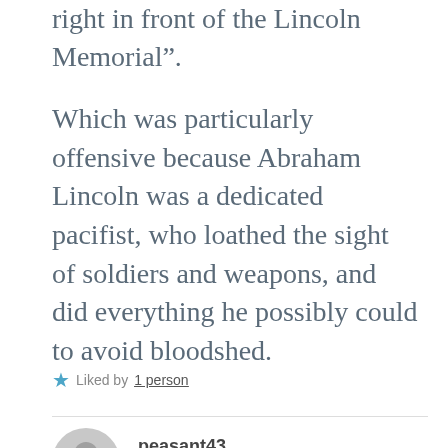right in front of the Lincoln Memorial”.
Which was particularly offensive because Abraham Lincoln was a dedicated pacifist, who loathed the sight of soldiers and weapons, and did everything he possibly could to avoid bloodshed.
★ Liked by 1 person
peasant43